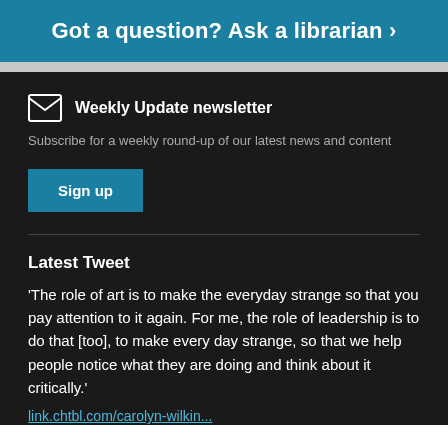Got a question? Ask a librarian >
Weekly Update newsletter
Subscribe for a weekly round-up of our latest news and content
Sign up
Latest Tweet
'The role of art is to make the everyday strange so that you pay attention to it again. For me, the role of leadership is to do that [too], to make every day strange, so that we help people notice what they are doing and think about it critically.'
link.chtbl.com/carolyn-wilkin...